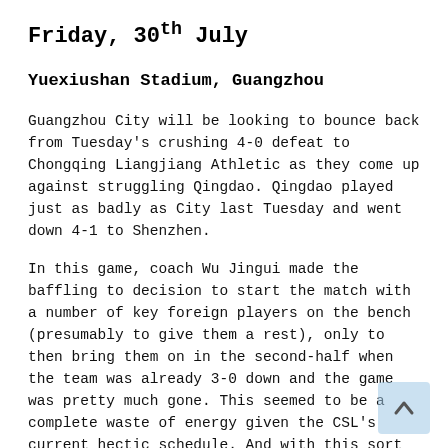Friday, 30th July
Yuexiushan Stadium, Guangzhou
Guangzhou City will be looking to bounce back from Tuesday's crushing 4-0 defeat to Chongqing Liangjiang Athletic as they come up against struggling Qingdao. Qingdao played just as badly as City last Tuesday and went down 4-1 to Shenzhen.
In this game, coach Wu Jingui made the baffling to decision to start the match with a number of key foreign players on the bench (presumably to give them a rest), only to then bring them on in the second-half when the team was already 3-0 down and the game was pretty much gone. This seemed to be a complete waste of energy given the CSL's current hectic schedule. And with this sort strange team selection coming into play it's going to be very difficult to anticipate exactly how Qingdao will line up against City. Whatever they do though, it's difficult to see them avoiding a fifth straight